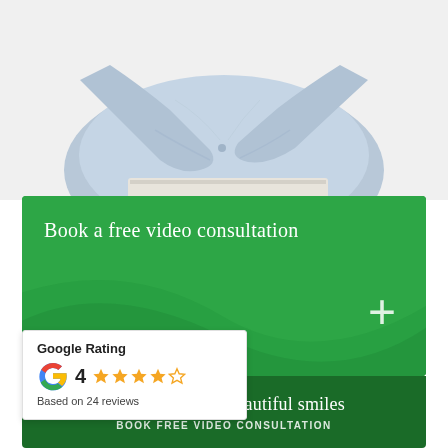[Figure (photo): Person in light blue denim shirt sitting, viewed from behind/side, hugging themselves or holding their back, seated on a white surface. Upper body and arms visible, head turned away.]
Book a free video consultation
[Figure (infographic): Google Rating widget: Google G logo, rating 4 stars (out of 5), Based on 24 reviews]
See some of our beautiful smiles
BOOK FREE VIDEO CONSULTATION